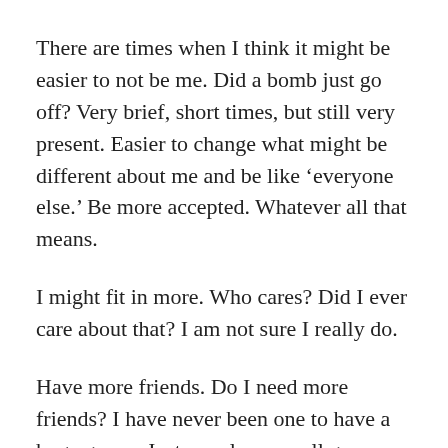There are times when I think it might be easier to not be me. Did a bomb just go off? Very brief, short times, but still very present. Easier to change what might be different about me and be like ‘everyone else.’ Be more accepted. Whatever all that means.
I might fit in more. Who cares? Did I ever care about that? I am not sure I really do.
Have more friends. Do I need more friends? I have never been one to have a huge group. Just my close, small group.
Maybe not be single? Eh. I would rather not be in a relationship than be in one where I could not be